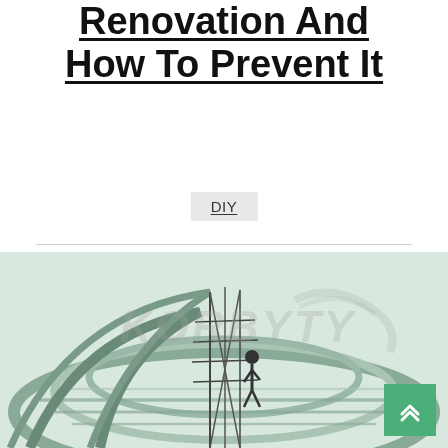Renovation And How To Prevent It
DIY
[Figure (photo): Construction or renovation scene showing a large glass dome or curved glass structure with scaffolding and a worker climbing, with a watermark overlay reading 'KORBYTY' or similar text in faded letters.]